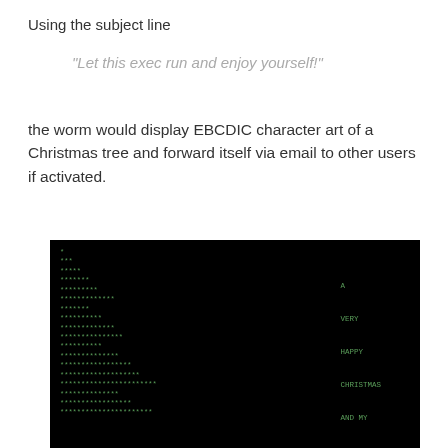Using the subject line
"Let this exec run and enjoy yourself!"
the worm would display EBCDIC character art of a Christmas tree and forward itself via email to other users if activated.
[Figure (illustration): Black terminal screen showing ASCII/EBCDIC character art of a Christmas tree made of asterisks on the left, and a greeting text on the right reading: A VERY HAPPY CHRISTMAS AND MY BEST WISHES]